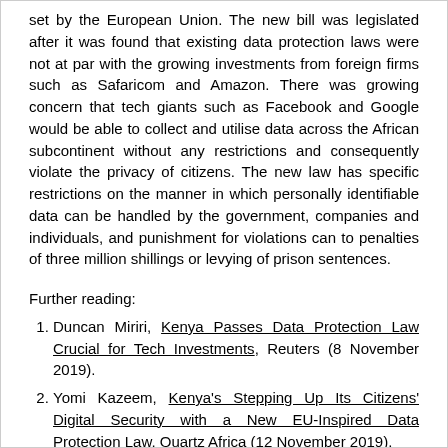set by the European Union. The new bill was legislated after it was found that existing data protection laws were not at par with the growing investments from foreign firms such as Safaricom and Amazon. There was growing concern that tech giants such as Facebook and Google would be able to collect and utilise data across the African subcontinent without any restrictions and consequently violate the privacy of citizens. The new law has specific restrictions on the manner in which personally identifiable data can be handled by the government, companies and individuals, and punishment for violations can to penalties of three million shillings or levying of prison sentences.
Further reading:
Duncan Miriri, Kenya Passes Data Protection Law Crucial for Tech Investments, Reuters (8 November 2019).
Yomi Kazeem, Kenya's Stepping Up Its Citizens' Digital Security with a New EU-Inspired Data Protection Law, Quartz Africa (12 November 2019).
Kenya Alova, The Data Protection Bill 2019 is N...